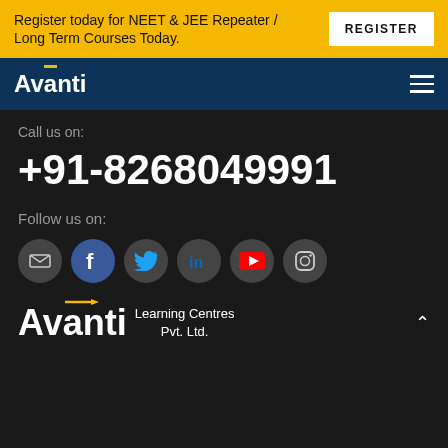Register today for NEET & JEE Repeater / Long Term Courses Today.
REGISTER
Avanti
Call us on:
+91-8268049991
Follow us on:
[Figure (logo): Social media icons: email, Facebook, Twitter, LinkedIn, YouTube, Instagram]
[Figure (logo): Avanti Learning Centres Pvt. Ltd. footer logo]